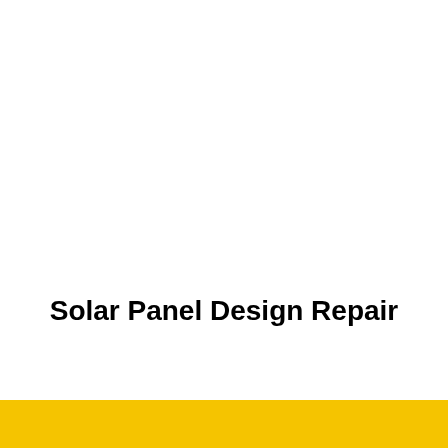Solar Panel Design Repair
[Figure (other): Yellow horizontal bar at the bottom of the page, decorative design element]